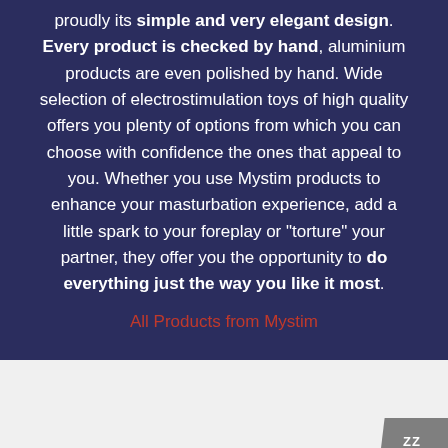proudly its simple and very elegant design. Every product is checked by hand, aluminium products are even polished by hand. Wide selection of electrostimulation toys of high quality offers you plenty of options from which you can choose with confidence the ones that appeal to you. Whether you use Mystim products to enhance your masturbation experience, add a little spark to your foreplay or "torture" your partner, they offer you the opportunity to do everything just the way you like it most.
All Products from Mystim
SCROLL TO TOP